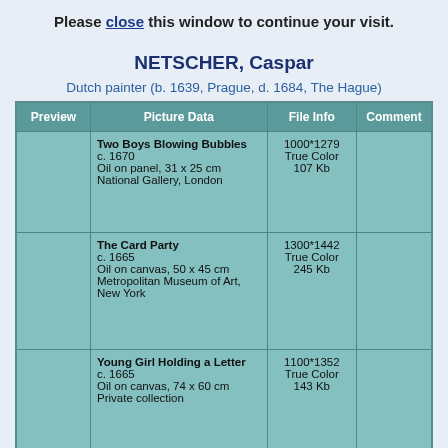Please close this window to continue your visit.
NETSCHER, Caspar
Dutch painter (b. 1639, Prague, d. 1684, The Hague)
| Preview | Picture Data | File Info | Comment |
| --- | --- | --- | --- |
|  | Two Boys Blowing Bubbles
c. 1670
Oil on panel, 31 x 25 cm
National Gallery, London | 1000*1279
True Color
107 Kb |  |
|  | The Card Party
c. 1665
Oil on canvas, 50 x 45 cm
Metropolitan Museum of Art, New York | 1300*1442
True Color
245 Kb |  |
|  | Young Girl Holding a Letter
c. 1665
Oil on canvas, 74 x 60 cm
Private collection | 1100*1352
True Color
143 Kb |  |
|  | Young Girl Holding a Letter (detail) |  |  |